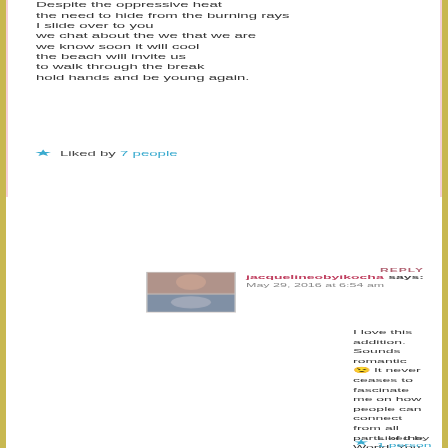Despite the oppressive heat
the need to hide from the burning rays
I slide over to you
we chat about the we that we are
we know soon it will cool
the beach will invite us
to walk through the break
hold hands and be young again.
★ Liked by 7 people
REPLY
[Figure (photo): Avatar photo of jacquelineobyikocha showing two photos stacked]
jacquelineobyikocha says:
May 29, 2016 at 6:54 am
I love this addition. Sounds romantic 😉 It never ceases to fascinate me on how people can connect from all parts of the World. You are all the way in Australia and I'm in Dubai 🙂
★ Liked by 1 person